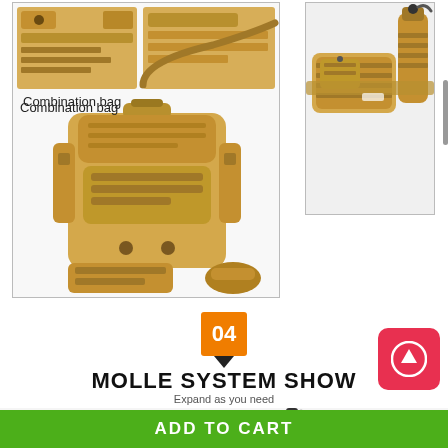[Figure (photo): Tactical military combination bag set showing two smaller bags on top, a large backpack in center, and accessories. Tan/khaki color. Framed with light border.]
Combination bag
[Figure (photo): Tactical tan/khaki waist/hip bag with MOLLE webbing and attached water bottle holder. Framed with light border.]
04
MOLLE SYSTEM SHOW
Expand as you need
[Figure (photo): Close-up of MOLLE webbing clips and attachment hardware in tan and black colors.]
ADD TO CART